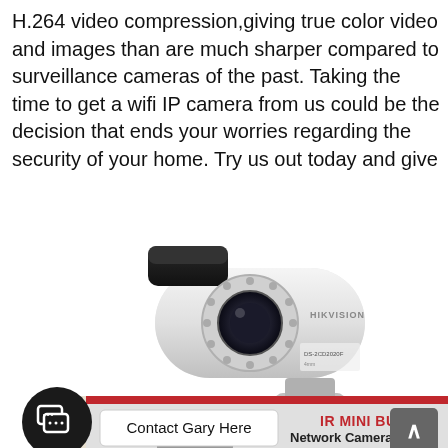H.264 video compression,giving true color video and images than are much sharper compared to surveillance cameras of the past. Taking the time to get a wifi IP camera from us could be the decision that ends your worries regarding the security of your home. Try us out today and give yourself and your family the security you deserve.
[Figure (photo): A white Hikvision IR Mini Bullet Network Camera mounted on a stand, shown above its retail box with red and white branding. A chat widget showing 'Contact Gary Here' and a scroll-up button are visible at the bottom.]